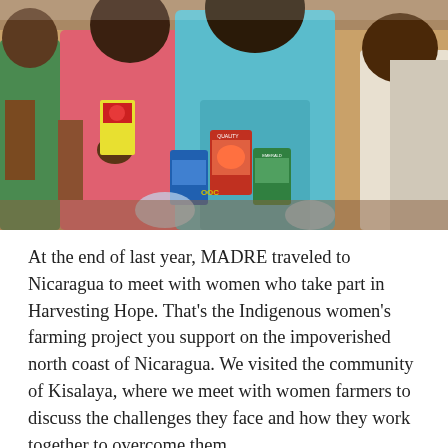[Figure (photo): Women standing together holding seed packets and canned goods at what appears to be a community distribution event. One woman in a blue dress is prominent in the center, another in pink to her left. Canned and packaged goods including tomato seeds and other agricultural supplies are visible in the foreground.]
At the end of last year, MADRE traveled to Nicaragua to meet with women who take part in Harvesting Hope. That's the Indigenous women's farming project you support on the impoverished north coast of Nicaragua. We visited the community of Kisalaya, where we meet with women farmers to discuss the challenges they face and how they work together to overcome them.
But first, the women were excited to show off their farming plots! To get to the plots, we traveled down the Coco River